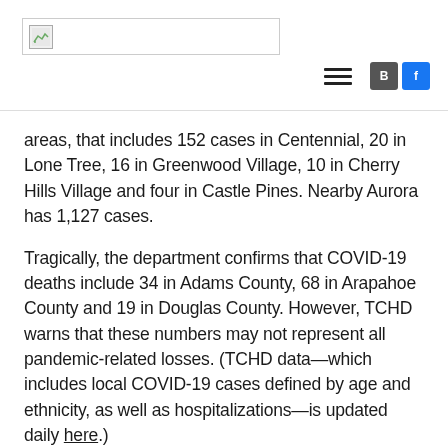[Logo] [Navigation hamburger menu] [Blogger icon] [Facebook icon]
areas, that includes 152 cases in Centennial, 20 in Lone Tree, 16 in Greenwood Village, 10 in Cherry Hills Village and four in Castle Pines. Nearby Aurora has 1,127 cases.
Tragically, the department confirms that COVID-19 deaths include 34 in Adams County, 68 in Arapahoe County and 19 in Douglas County. However, TCHD warns that these numbers may not represent all pandemic-related losses. (TCHD data—which includes local COVID-19 cases defined by age and ethnicity, as well as hospitalizations—is updated daily here.)